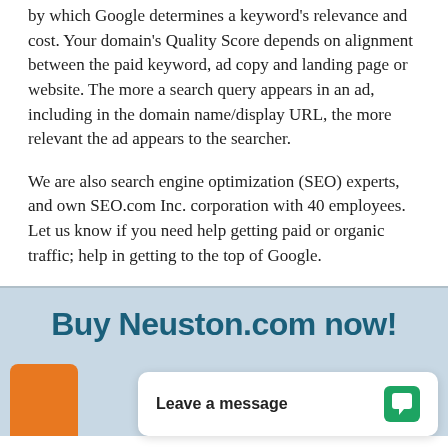by which Google determines a keyword's relevance and cost. Your domain's Quality Score depends on alignment between the paid keyword, ad copy and landing page or website. The more a search query appears in an ad, including in the domain name/display URL, the more relevant the ad appears to the searcher.
We are also search engine optimization (SEO) experts, and own SEO.com Inc. corporation with 40 employees. Let us know if you need help getting paid or organic traffic; help in getting to the top of Google.
Buy Neuston.com now!
Leave a message